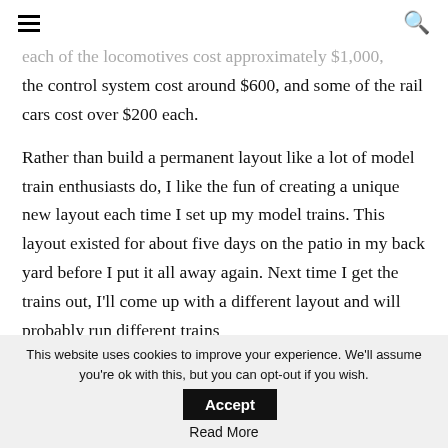☰  🔍
each of the locomotives cost approximately $1,000, the control system cost around $600, and some of the rail cars cost over $200 each.
Rather than build a permanent layout like a lot of model train enthusiasts do, I like the fun of creating a unique new layout each time I set up my model trains. This layout existed for about five days on the patio in my back yard before I put it all away again. Next time I get the trains out, I'll come up with a different layout and will probably run different trains
This website uses cookies to improve your experience. We'll assume you're ok with this, but you can opt-out if you wish.  Accept
Read More